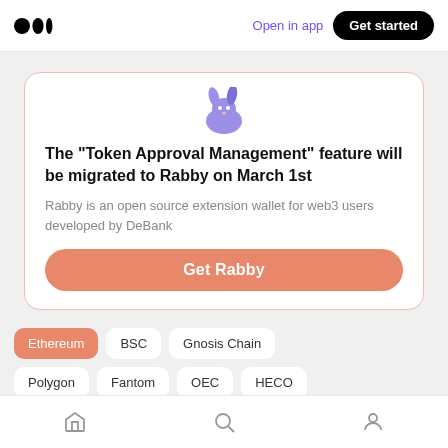Medium logo | Open in app | Get started
[Figure (illustration): Purple/blue cartoon rabbit illustration at top of card]
The “Token Approval Management” feature will be migrated to Rabby on March 1st
Rabby is an open source extension wallet for web3 users developed by DeBank
Get Rabby
Ethereum
BSC
Gnosis Chain
Polygon
Fantom
OEC
HECO
Avalanche
Arbitrum
Optimism
Home | Search | Profile